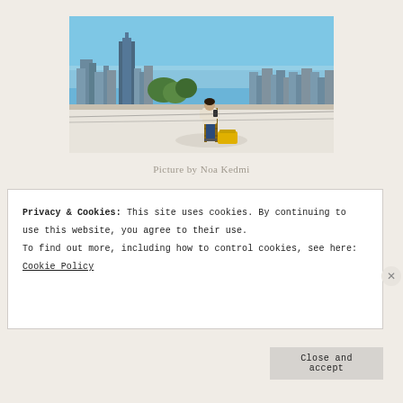[Figure (photo): A person standing on a rooftop looking at a phone, with a city skyline visible in the background under a blue sky. A wooden ladder and a yellow box are nearby.]
Picture by Noa Kedmi
Privacy & Cookies: This site uses cookies. By continuing to use this website, you agree to their use.
To find out more, including how to control cookies, see here: Cookie Policy
Close and accept